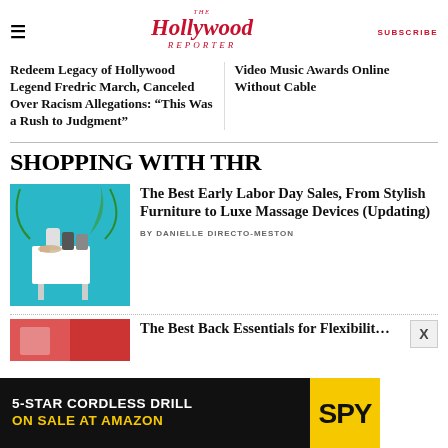The Hollywood Reporter | SUBSCRIBE
Redeem Legacy of Hollywood Legend Fredric March, Canceled Over Racism Allegations: “This Was a Rush to Judgment”
Video Music Awards Online Without Cable
SHOPPING WITH THR
[Figure (photo): Product photo showing outdoor furniture with drinks on a small white table, teal/turquoise background with palm leaves]
The Best Early Labor Day Sales, From Stylish Furniture to Luxe Massage Devices (Updating)
BY DANIELLE DIRECTO-MESTON
[Figure (photo): Partial view of a second article image]
The Best Back Essentials for Flexibility...
[Figure (advertisement): Advertisement: 5-STAR CORDLESS DRILL ON SALE AT AMAZON, SPY logo on yellow background]